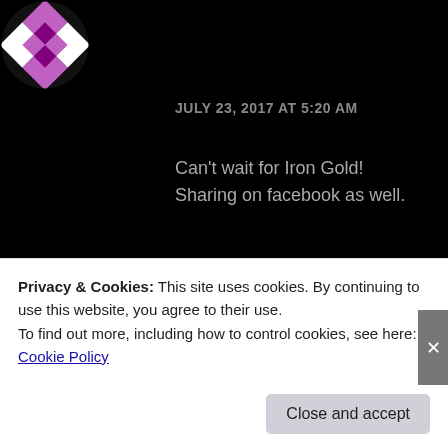[Figure (illustration): Purple and white checkered diamond pattern avatar icon in top left corner]
JULY 23, 2017 AT 5:20 AM
Can't wait for Iron Gold!
Sharing on facebook as well.
★ Liked by 1 person
REPLY
[Figure (photo): Blue/dark avatar photo at bottom left, partially visible]
Privacy & Cookies: This site uses cookies. By continuing to use this website, you agree to their use.
To find out more, including how to control cookies, see here: Cookie Policy
Close and accept